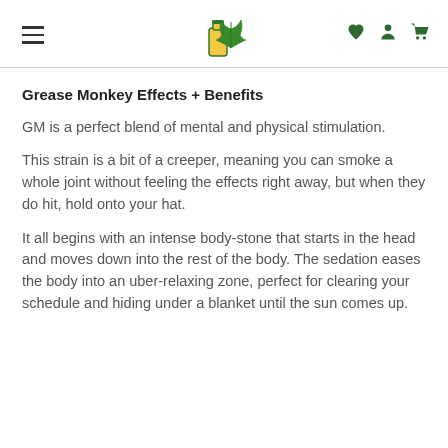Navigation header with hamburger menu, cannabis/CBD logo, and icons for wishlist, account, and cart
Grease Monkey Effects + Benefits
GM is a perfect blend of mental and physical stimulation.
This strain is a bit of a creeper, meaning you can smoke a whole joint without feeling the effects right away, but when they do hit, hold onto your hat.
It all begins with an intense body-stone that starts in the head and moves down into the rest of the body. The sedation eases the body into an uber-relaxing zone, perfect for clearing your schedule and hiding under a blanket until the sun comes up.